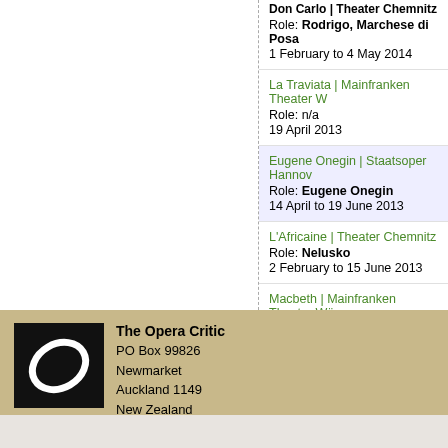Don Carlo | Theater Chemnitz
Role: Rodrigo, Marchese di Posa
1 February to 4 May 2014
La Traviata | Mainfranken Theater W
Role: n/a
19 April 2013
Eugene Onegin | Staatsoper Hannov
Role: Eugene Onegin
14 April to 19 June 2013
L'Africaine | Theater Chemnitz
Role: Nelusko
2 February to 15 June 2013
Macbeth | Mainfranken Theater Wür
Role: n/a
14 October 2012 to 3 February 2013
No more productions
The Opera Critic
PO Box 99826
Newmarket
Auckland 1149
New Zealand